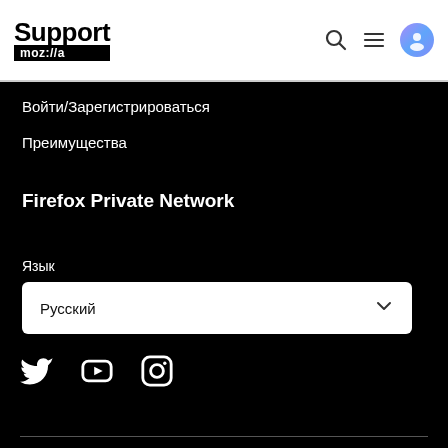Support moz://a
Войти/Зарегистрироваться
Преимущества
Firefox Private Network
Язык
Русский
[Figure (other): Social media icons: Twitter, YouTube, Instagram]
moz://a